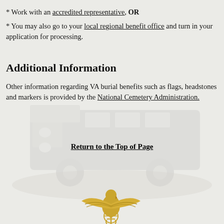* Work with an accredited representative, OR
* You may also go to your local regional benefit office and turn in your application for processing.
Additional Information
Other information regarding VA burial benefits such as flags, headstones and markers is provided by the National Cemetery Administration.
Return to the Top of Page
[Figure (illustration): Faded background image of a military vehicle/hearse and a gold Marine Corps eagle, globe and anchor emblem at the bottom]